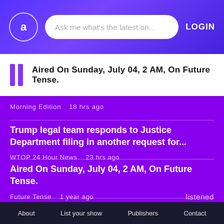a | Ask me what's the latest on... | LOGIN
Aired On Sunday, July 04, 2 AM, On Future Tense.
Morning Edition   18 hrs ago
Trump legal team responds to Justice Department filing in another request for...
WTOP 24 Hour News   23 hrs ago
Aired On Sunday, July 04, 2 AM, On Future Tense.
Future Tense   1 year ago   listened
About   List your show   Publishers   Contact